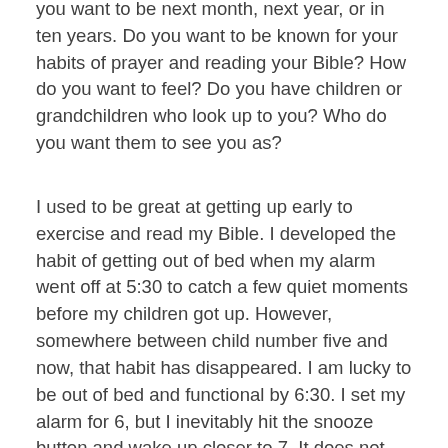you want to be next month, next year, or in ten years. Do you want to be known for your habits of prayer and reading your Bible? How do you want to feel? Do you have children or grandchildren who look up to you? Who do you want them to see you as?
I used to be great at getting up early to exercise and read my Bible. I developed the habit of getting out of bed when my alarm went off at 5:30 to catch a few quiet moments before my children got up. However, somewhere between child number five and now, that habit has disappeared. I am lucky to be out of bed and functional by 6:30. I set my alarm for 6, but I inevitably hit the snooze button and wake up closer to 7. It does not start my day off well. I'm usually rushed and then annoyed when my children are up and ready for breakfast before the coffee has even been ground. Admittedly, after five children in seven years, I was